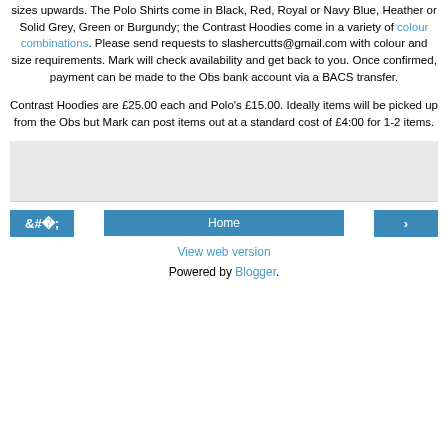sizes upwards. The Polo Shirts come in Black, Red, Royal or Navy Blue, Heather or Solid Grey, Green or Burgundy; the Contrast Hoodies come in a variety of colour combinations. Please send requests to slashercutts@gmail.com with colour and size requirements. Mark will check availability and get back to you. Once confirmed, payment can be made to the Obs bank account via a BACS transfer.
Contrast Hoodies are £25.00 each and Polo's £15.00. Ideally items will be picked up from the Obs but Mark can post items out at a standard cost of £4:00 for 1-2 items.
View web version
Powered by Blogger.